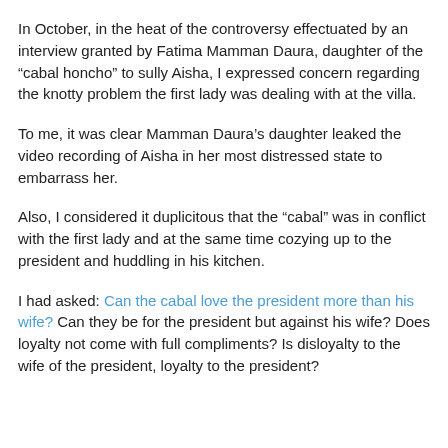In October, in the heat of the controversy effectuated by an interview granted by Fatima Mamman Daura, daughter of the "cabal honcho" to sully Aisha, I expressed concern regarding the knotty problem the first lady was dealing with at the villa.
To me, it was clear Mamman Daura's daughter leaked the video recording of Aisha in her most distressed state to embarrass her.
Also, I considered it duplicitous that the "cabal" was in conflict with the first lady and at the same time cozying up to the president and huddling in his kitchen.
I had asked: Can the cabal love the president more than his wife? Can they be for the president but against his wife? Does loyalty not come with full compliments? Is disloyalty to the wife of the president, loyalty to the president?